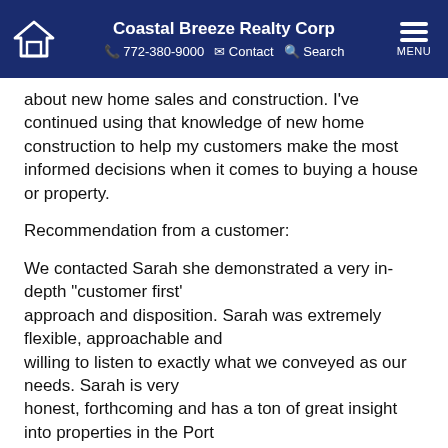Coastal Breeze Realty Corp | 772-380-9000 | Contact | Search | MENU
about new home sales and construction. I've continued using that knowledge of new home construction to help my customers make the most informed decisions when it comes to buying a house or property.
Recommendation from a customer:
We contacted Sarah she demonstrated a very in-depth "customer first' approach and disposition. Sarah was extremely flexible, approachable and willing to listen to exactly what we conveyed as our needs. Sarah is very honest, forthcoming and has a ton of great insight into properties in the Port St. Lucie market and in this region of Florida. Sarah is, and always has been, extraordinarily responsive and quick to take action. Sarah